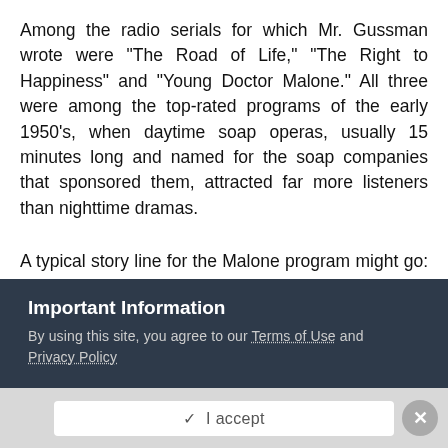Among the radio serials for which Mr. Gussman wrote were "The Road of Life," "The Right to Happiness" and "Young Doctor Malone." All three were among the top-rated programs of the early 1950's, when daytime soap operas, usually 15 minutes long and named for the soap companies that sponsored them, attracted far more listeners than nighttime dramas.
A typical story line for the Malone program might go: Jerry Malone, a principled and idealistic physician in the little town of Three Oaks, goes to New York on a business trip; there he falls into the clutches of the treacherous Lucia Standish. Meanwhile, his wife, Ann, is fooling around with Sam Williams, an aggressive Three Oaks businessman.
Important Information
By using this site, you agree to our Terms of Use and Privacy Policy
✓  I accept